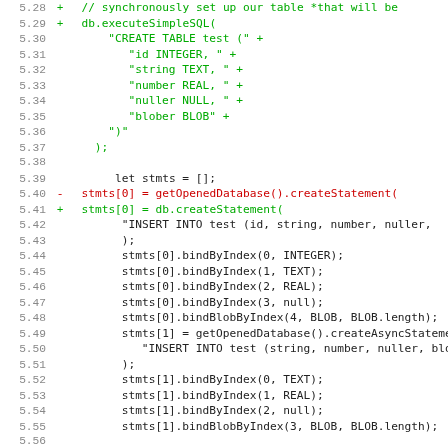[Figure (screenshot): Code diff showing lines 5.28 through 5.59 of a JavaScript/database test file. Green lines are additions, red lines are deletions, black lines are context. The code sets up a SQLite-like table and prepares SQL statements using bindByIndex methods.]